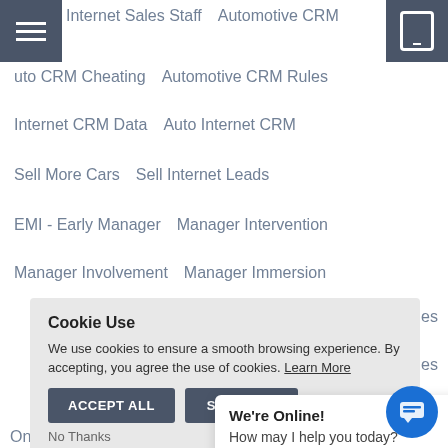Internet Sales Staff   Automotive CRM
uto CRM Cheating   Automotive CRM Rules
Internet CRM Data   Auto Internet CRM
Sell More Cars   Sell Internet Leads
EMI - Early Manager   Manager Intervention
Manager Involvement   Manager Immersion
ales
Sales
ars
Online Car Purchas
Buy A New Car Onl
Cookie Use
We use cookies to ensure a smooth browsing experience. By accepting, you agree the use of cookies. Learn More
ACCEPT ALL   SETTINGS
No Thanks
We're Online!
How may I help you today?